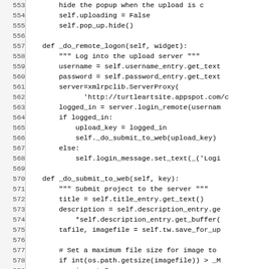[Figure (screenshot): Source code listing (Python) showing lines 553–582, with line numbers in a left gutter and code in monospace font. Content includes methods _do_remote_logon and _do_submit_to_web.]